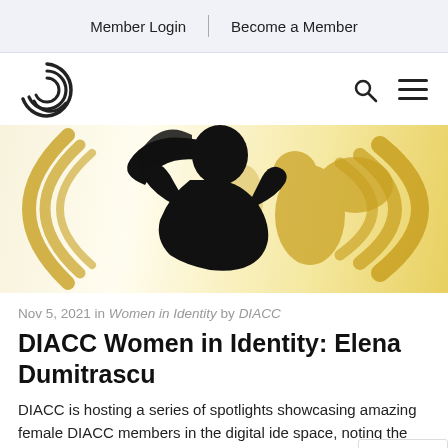Member Login | Become a Member
[Figure (logo): DIACC swirl logo and navigation icons (search and hamburger menu)]
[Figure (illustration): Hero banner with silhouette of a woman against a gold world map with gold decorative arcs on a white/cream background]
Nov 5, 2021 in Women in Identity by DIACC
DIACC Women in Identity: Elena Dumitrascu
DIACC is hosting a series of spotlights showcasing amazing female DIACC members in the digital identity space, noting the importance of diversity. These spotlights will be posted throughout the year. DIACC...